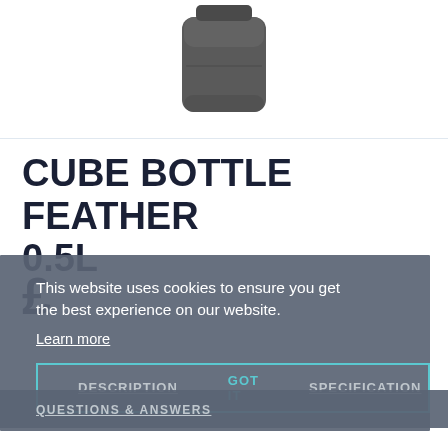[Figure (photo): Dark grey/charcoal cube-shaped water bottle (0.5L) shown against white background, cropped at top]
CUBE BOTTLE FEATHER 0.5L
£
This website uses cookies to ensure you get the best experience on our website.
Learn more
DESCRIPTION   SPECIFICATION   Got it
QUESTIONS & ANSWERS